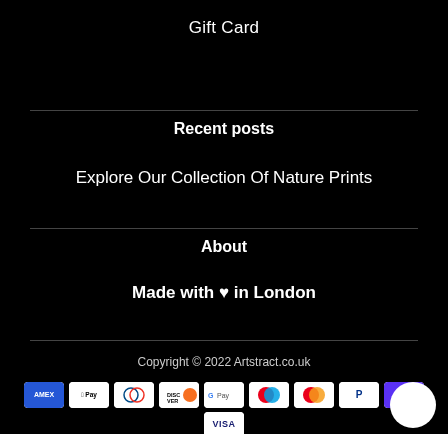Gift Card
Recent posts
Explore Our Collection Of Nature Prints
About
Made with ♥ in London
Copyright © 2022 Artstract.co.uk
[Figure (other): Payment method icons: Amex, Apple Pay, Diners Club, Discover, Google Pay, Maestro, Mastercard, PayPal, Shop Pay, Visa]